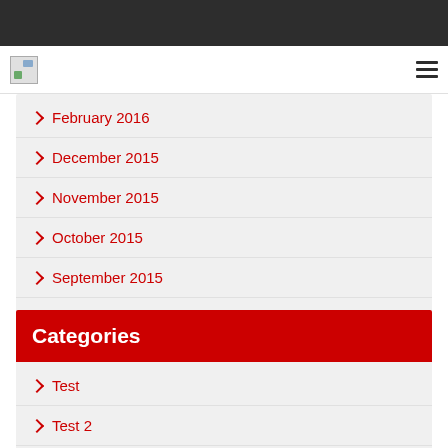[Figure (logo): Small site logo image (landscape/image icon)]
February 2016
December 2015
November 2015
October 2015
September 2015
August 2015
Categories
Test
Test 2
Uncategorized